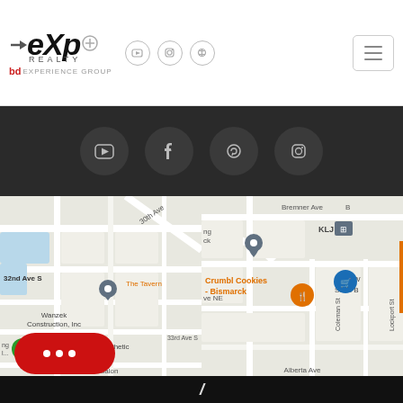[Figure (logo): eXp Realty logo with social media icons (YouTube, Instagram, Pinterest) and hamburger menu in white header bar]
[Figure (infographic): Dark grey bar with four circular social media icon buttons: YouTube, Facebook, Pinterest, Instagram]
[Figure (map): Left Google Maps screenshot showing Wanzek Construction Inc, Chapter Aesthetics, 32nd Ave S, 33rd Ave S, Sola Salon area]
[Figure (map): Right Google Maps screenshot showing Bremner Ave, KLJ, Crumbl Cookies Bismarck, Cash Wise Store, Coleman St, Lockport St, Alberta Ave]
[Figure (illustration): Red rounded rectangle chat button with three dots icon at bottom left, and partial eXp logo at very bottom]